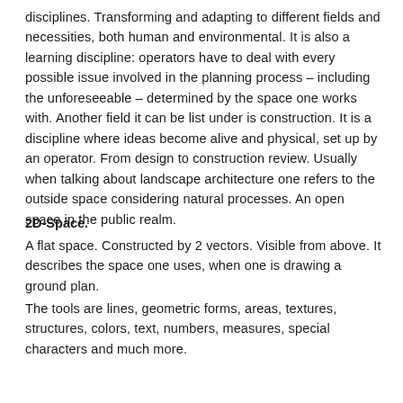disciplines. Transforming and adapting to different fields and necessities, both human and environmental. It is also a learning discipline: operators have to deal with every possible issue involved in the planning process – including the unforeseeable – determined by the space one works with. Another field it can be list under is construction. It is a discipline where ideas become alive and physical, set up by an operator. From design to construction review. Usually when talking about landscape architecture one refers to the outside space considering natural processes. An open space in the public realm.
2D-Space.
A flat space. Constructed by 2 vectors. Visible from above. It describes the space one uses, when one is drawing a ground plan.
The tools are lines, geometric forms, areas, textures, structures, colors, text, numbers, measures, special characters and much more.